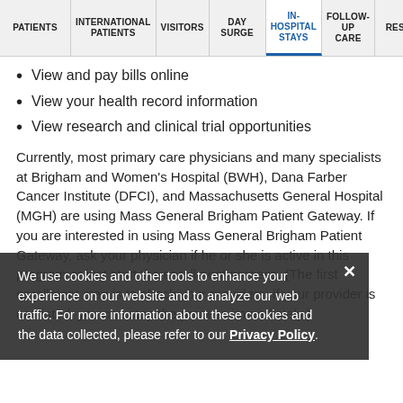PATIENTS | INTERNATIONAL PATIENTS | VISITORS | DAY SURGERY | IN-HOSPITAL STAYS | FOLLOW-UP CARE | RESOURCES
View and pay bills online
View your health record information
View research and clinical trial opportunities
Currently, most primary care physicians and many specialists at Brigham and Women's Hospital (BWH), Dana Farber Cancer Institute (DFCI), and Massachusetts General Hospital (MGH) are using Mass General Brigham Patient Gateway. If you are interested in using Mass General Brigham Patient Gateway, ask your physician if he or she is active in this program or just start the enrollment process. (The first enrollment step is to check your providers; if your provider is not listed, you can stop the process immediately.)
We use cookies and other tools to enhance your experience on our website and to analyze our web traffic. For more information about these cookies and the data collected, please refer to our Privacy Policy.